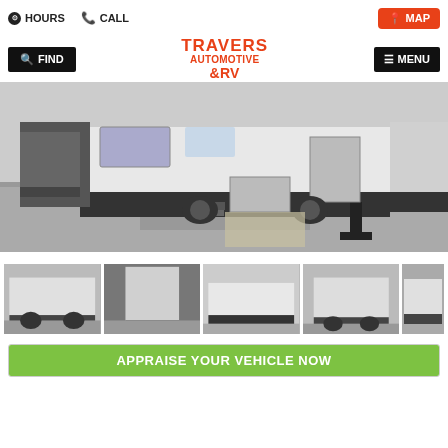HOURS  CALL  MAP
[Figure (logo): Travers Automotive & RV logo in red text]
[Figure (photo): Main hero photo of RV trailers parked in a lot, exterior side/rear view]
[Figure (photo): Thumbnail gallery row of 5 RV photos showing various angles]
APPRAISE YOUR VEHICLE NOW